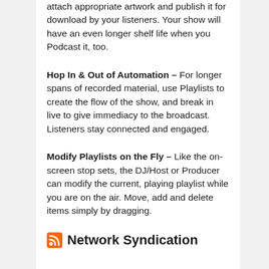attach appropriate artwork and publish it for download by your listeners.  Your show will have an even longer shelf life when you Podcast it, too.
Hop In & Out of Automation – For longer spans of recorded material, use Playlists to create the flow of the show, and break in live to give immediacy to the broadcast.  Listeners stay connected and engaged.
Modify Playlists on the Fly – Like the on-screen stop sets, the DJ/Host or Producer can modify the current, playing playlist while you are on the air.  Move, add and delete items simply by dragging.
Network Syndication